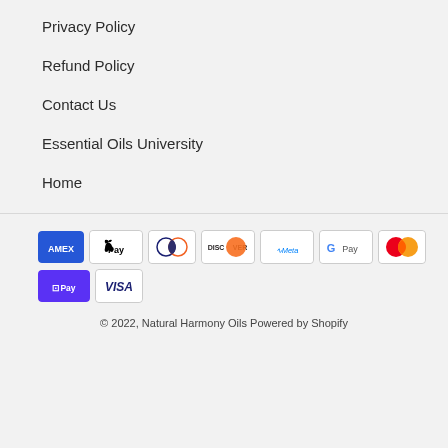Privacy Policy
Refund Policy
Contact Us
Essential Oils University
Home
[Figure (infographic): Payment method icons: American Express, Apple Pay, Diners Club, Discover, Meta Pay, Google Pay, Mastercard, Shop Pay, Visa]
© 2022, Natural Harmony Oils Powered by Shopify